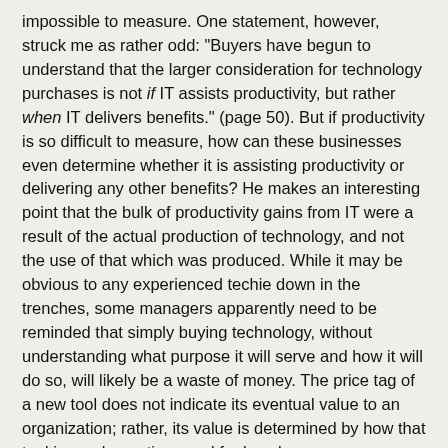impossible to measure. One statement, however, struck me as rather odd: "Buyers have begun to understand that the larger consideration for technology purchases is not if IT assists productivity, but rather when IT delivers benefits." (page 50). But if productivity is so difficult to measure, how can these businesses even determine whether it is assisting productivity or delivering any other benefits? He makes an interesting point that the bulk of productivity gains from IT were a result of the actual production of technology, and not the use of that which was produced. While it may be obvious to any experienced techie down in the trenches, some managers apparently need to be reminded that simply buying technology, without understanding what purpose it will serve and how it will do so, will likely be a waste of money. The price tag of a new tool does not indicate its eventual value to an organization; rather, its value is determined by how that tool is used over time, and for how long.
After detailing additional fiascoes resulting from the (attempted) implementations of large-scale software packages, the author continues with a brief look at IT spending averages. What is most notable is the dramatic differences among a few industries, such as telco services and financial services, which each spent more than triple and double the average of the industries, respectively. Yet those differences should not be that astonishing, given how